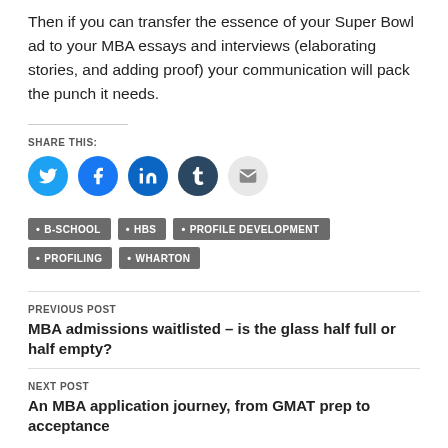Then if you can transfer the essence of your Super Bowl ad to your MBA essays and interviews (elaborating stories, and adding proof) your communication will pack the punch it needs.
SHARE THIS:
[Figure (infographic): Five social media share icons: Twitter (blue circle), Facebook (blue circle), LinkedIn (dark blue circle), Tumblr (dark navy circle), Email (light gray circle)]
B-SCHOOL
HBS
PROFILE DEVELOPMENT
PROFILING
WHARTON
PREVIOUS POST
MBA admissions waitlisted – is the glass half full or half empty?
NEXT POST
An MBA application journey, from GMAT prep to acceptance